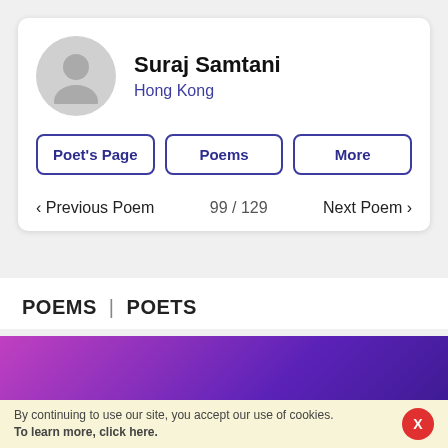Suraj Samtani
Hong Kong
Poet's Page
Poems
More
< Previous Poem   99 / 129   Next Poem >
POEMS | POETS
Poemhunter.com
By continuing to use our site, you accept our use of cookies. To learn more, click here.